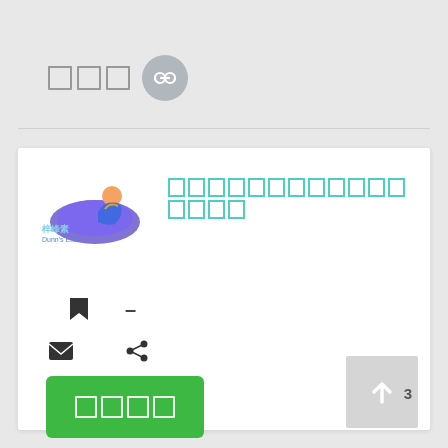[Figure (screenshot): UI element with three square placeholder boxes and a circular button with a link/chain icon]
[Figure (screenshot): White card panel containing: Dunn's Education logo with Chinese text '梓峰素', teal outlined placeholder title characters, bookmark and dash icons, email and share icons, green button with placeholder squares, scroll-to-top arrow button, and number 3]